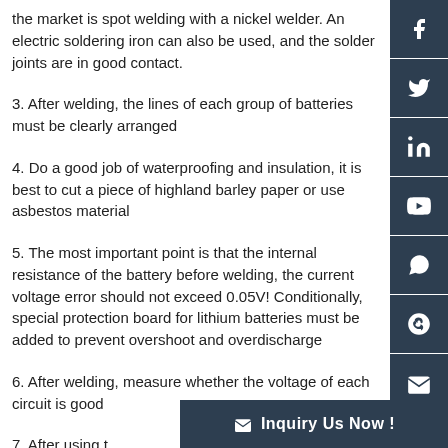the market is spot welding with a nickel welder. An electric soldering iron can also be used, and the solder joints are in good contact.
3. After welding, the lines of each group of batteries must be clearly arranged
4. Do a good job of waterproofing and insulation, it is best to cut a piece of highland barley paper or use asbestos material
5. The most important point is that the internal resistance of the battery before welding, the current voltage error should not exceed 0.05V! Conditionally, special protection board for lithium batteries must be added to prevent overshoot and overdischarge
6. After welding, measure whether the voltage of each circuit is good
7. After using t
Inquiry Us Now !